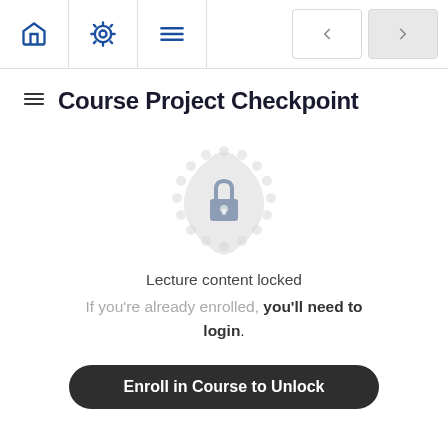navbar with home, settings, menu icons and navigation buttons
Course Project Checkpoint
[Figure (illustration): A locked padlock icon centered inside a decorative circular badge/seal shape in light gray, indicating locked content.]
Lecture content locked
If you're already enrolled, you'll need to login.
Enroll in Course to Unlock